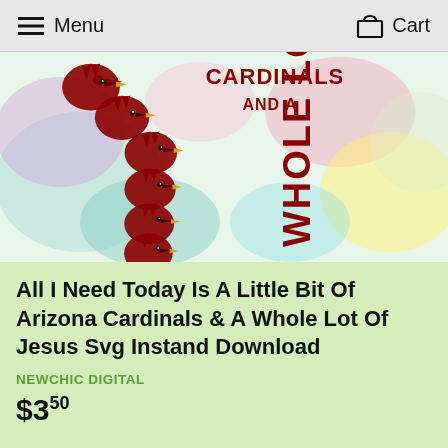Menu   Cart
[Figure (illustration): Product image showing Arizona Cardinals logo with cardinal bird heads stacked vertically, with text 'CARDINALS AND A WHOLE LOT OF JESUS' on a colorful watercolor pastel background]
All I Need Today Is A Little Bit Of Arizona Cardinals & A Whole Lot Of Jesus Svg Instand Download
NEWCHIC DIGITAL
$3.50